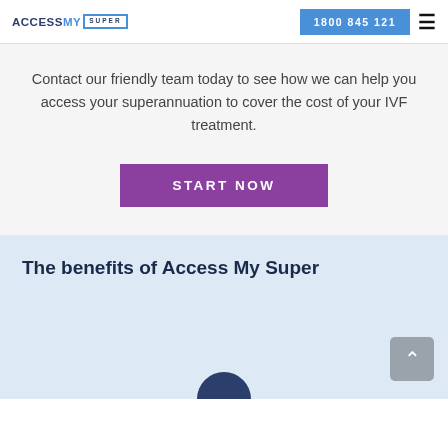ACCESS MY SUPER | 1800 845 121
Contact our friendly team today to see how we can help you access your superannuation to cover the cost of your IVF treatment.
START NOW
The benefits of Access My Super